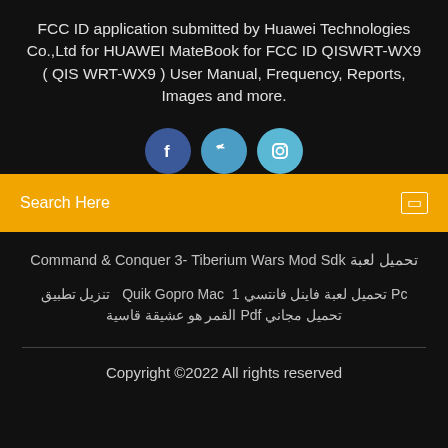FCC ID application submitted by Huawei Technologies Co.,Ltd for HUAWEI MateBook for FCC ID QISWRT-WX9 ( QIS WRT-WX9 ) User Manual, Frequency, Reports, Images and more.
[Figure (illustration): Three social media icon buttons: Facebook (dark blue circle with 'f'), Twitter (medium blue circle with bird icon), Instagram (light blue circle with camera icon)]
Search Here
تحميل لعبة Command & Conquer 3- Tiberium Wars Mod Sdk
Pc تحميل لعبة فاينل فانتسي 1  Quik Gopro Mac  تنزيل تطبيق تحميل مجاني Pdf القمر هو عشيقة قاسية
Copyright ©2022 All rights reserved